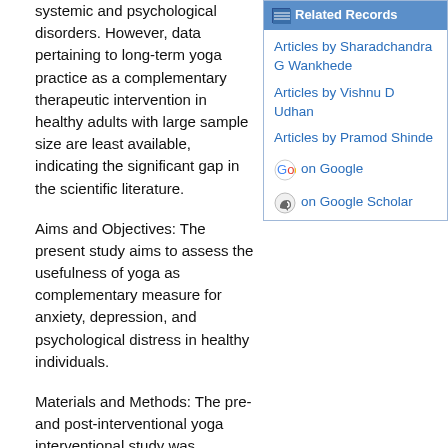systemic and psychological disorders. However, data pertaining to long-term yoga practice as a complementary therapeutic intervention in healthy adults with large sample size are least available, indicating the significant gap in the scientific literature.
Aims and Objectives: The present study aims to assess the usefulness of yoga as complementary measure for anxiety, depression, and psychological distress in healthy individuals.
Materials and Methods: The pre- and post-interventional yoga interventional study was conducted on healthy individuals (n = 200) with age ranging from 30 to 50 years (mean age = 39.95 years). Yoga intervention was given for 6 months (1 h/day; 6 days/week). Baseline and post-interventional anxiety, depression, life satisfaction, loss of emotional
Related Records
Articles by Sharadchandra G Wankhede
Articles by Vishnu D Udhan
Articles by Pramod Shinde
on Google
on Google Scholar